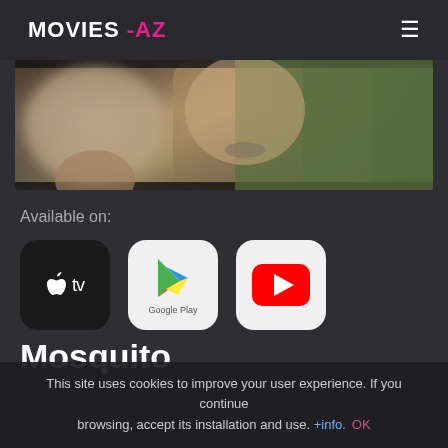MOVIES -AZ
[Figure (photo): Movie still showing blurred close-up of two people, one appears to be wearing a green jacket]
Available on:
[Figure (logo): Apple TV app icon - black rounded square with Apple logo and 'tv' text]
[Figure (logo): Google Play app icon - white rounded square with Google Play triangle logo and 'Google Play' text]
[Figure (logo): YouTube app icon - white rounded square with red YouTube play button]
Mosquito
This site uses cookies to improve your user experience. If you continue browsing, accept its installation and use. +info. OK